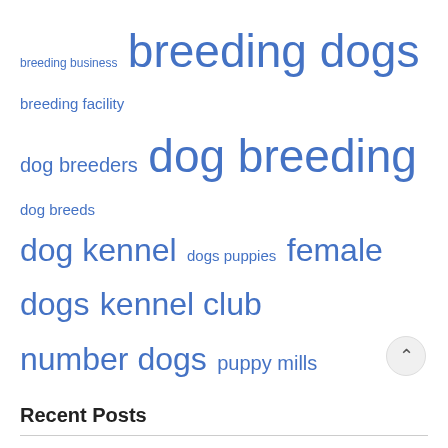[Figure (other): Tag cloud with blue keyword links of varying sizes: breeding business, breeding dogs, breeding facility, dog breeders, dog breeding, dog breeds, dog kennel, dogs puppies, female dogs, kennel club, number dogs, puppy mills]
Recent Posts
The Cheapest Dog DNA Tests
Council sends kennel zoning amendment to Planning Commission
Application Withdrawn for Proposed Dog Breeding Facility North of Calgary – Calgary
Local relief calls for the development of a dog breeding facility
Appeal filed against $825,000 kennel project north of Calgary – CalgaryNews WAALI
Appeal filed against $825,000 dog breeding project north of Calgary –